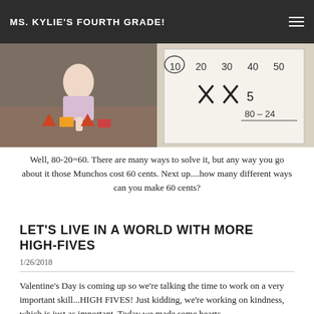MS. KYLIE'S FOURTH GRADE!
[Figure (photo): Student working on math activity on the floor with colored shapes]
[Figure (photo): Student worksheet showing numbers 10, 20, 30, 40, 50 and X marks with subtraction 80-24]
Well, 80-20=60.  There are many ways to solve it, but any way you go about it those Munchos cost 60 cents.  Next up....how many different ways can you make 60 cents?
LET'S LIVE IN A WORLD WITH MORE HIGH-FIVES
1/26/2018
Valentine's Day is coming up so we're talking the time to work on a very important skill...HIGH FIVES!  Just kidding, we're working on kindness, which is just as important.  Today we made some hearts